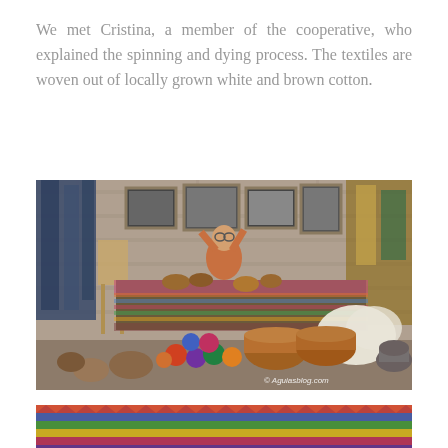We met Cristina, a member of the cooperative, who explained the spinning and dying process. The textiles are woven out of locally grown white and brown cotton.
[Figure (photo): Interior of a textile cooperative workshop. A woman sits behind a table covered with a colorful woven cloth, surrounded by baskets of raw cotton, yarn balls in various colors, and natural dye materials. Framed black-and-white photographs hang on the stone block wall behind her. Indigo-dyed textiles hang on the left; raw cotton and woven goods are visible on the right. Watermark reads '© Aguiasblog.com'.]
[Figure (photo): Partial view of colorful woven textiles at the bottom of the page, showing vibrant multicolored fabric patterns.]